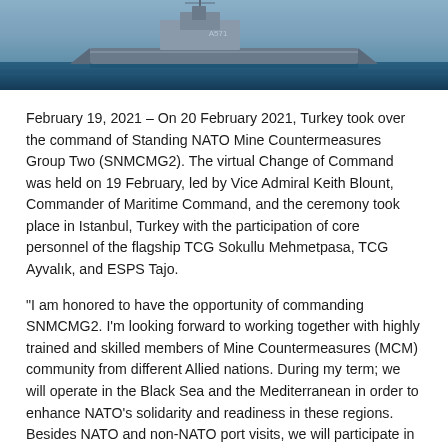[Figure (photo): A naval warship photographed at sea, showing part of the vessel's hull and superstructure against a blue sky and ocean backdrop.]
February 19, 2021 – On 20 February 2021, Turkey took over the command of Standing NATO Mine Countermeasures Group Two (SNMCMG2). The virtual Change of Command was held on 19 February, led by Vice Admiral Keith Blount, Commander of Maritime Command, and the ceremony took place in Istanbul, Turkey with the participation of core personnel of the flagship TCG Sokullu Mehmetpasa, TCG Ayvalık, and ESPS Tajo.
“I am honored to have the opportunity of commanding SNMCMG2. I’m looking forward to working together with highly trained and skilled members of Mine Countermeasures (MCM) community from different Allied nations. During my term; we will operate in the Black Sea and the Mediterranean in order to enhance NATO’s solidarity and readiness in these regions. Besides NATO and non-NATO port visits, we will participate in three exercises as we are fully aware that conducting such